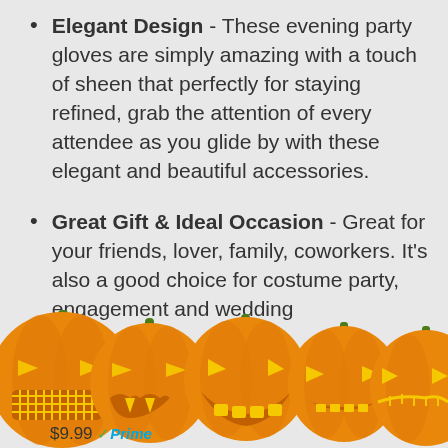Elegant Design - These evening party gloves are simply amazing with a touch of sheen that perfectly for staying refined, grab the attention of every attendee as you glide by with these elegant and beautiful accessories.
Great Gift & Ideal Occasion - Great for your friends, lover, family, coworkers. It's also a good choice for costume party, engagement and wedding
[Figure (illustration): A row of five carved Halloween jack-o-lantern pumpkins with glowing faces across the bottom of the page]
$9.99 Prime